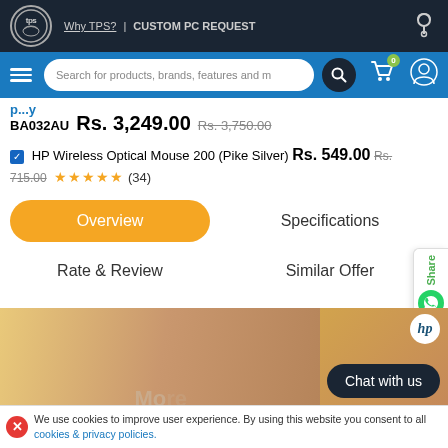TPS | Why TPS? | CUSTOM PC REQUEST
BA032AU  Rs. 3,249.00  Rs. 3,750.00
☑ HP Wireless Optical Mouse 200 (Pike Silver)  Rs. 549.00  Rs. 715.00  ★★★★★ (34)
Overview | Specifications | Rate & Review | Similar Offer
[Figure (photo): Woman working at desk with lamp, HP product page image with 'More Productivity' text overlay]
Chat with us
We use cookies to improve user experience. By using this website you consent to all cookies & privacy policies.